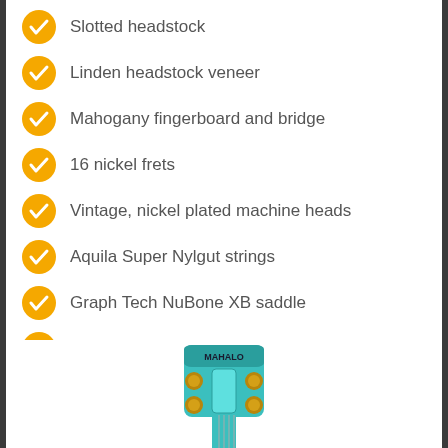Slotted headstock
Linden headstock veneer
Mahogany fingerboard and bridge
16 nickel frets
Vintage, nickel plated machine heads
Aquila Super Nylgut strings
Graph Tech NuBone XB saddle
ABS, White nut
Scale length: 379mm
[Figure (photo): Photo of a teal/turquoise Mahalo ukulele headstock viewed from front, showing tuning pegs and MAHALO branding]